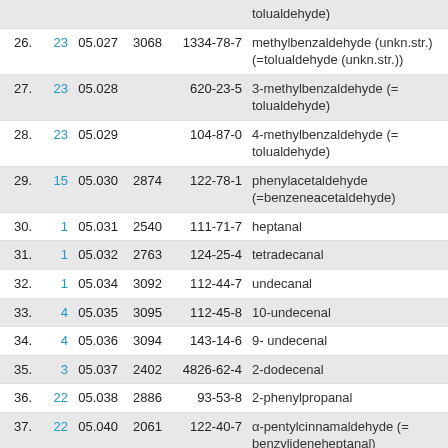| # | Group | Code | FEMA | CAS | Name |
| --- | --- | --- | --- | --- | --- |
|  |  |  |  | tolualdehyde) |  |
| 26. | 23 | 05.027 | 3068 | 1334-78-7 | methylbenzaldehyde (unkn.str.) (=tolualdehyde (unkn.str.)) |
| 27. | 23 | 05.028 |  | 620-23-5 | 3-methylbenzaldehyde (= tolualdehyde) |
| 28. | 23 | 05.029 |  | 104-87-0 | 4-methylbenzaldehyde (= tolualdehyde) |
| 29. | 15 | 05.030 | 2874 | 122-78-1 | phenylacetaldehyde (=benzeneacetaldehyde) |
| 30. | 1 | 05.031 | 2540 | 111-71-7 | heptanal |
| 31. | 1 | 05.032 | 2763 | 124-25-4 | tetradecanal |
| 32. | 1 | 05.034 | 3092 | 112-44-7 | undecanal |
| 33. | 4 | 05.035 | 3095 | 112-45-8 | 10-undecenal |
| 34. | 4 | 05.036 | 3094 | 143-14-6 | 9- undecenal |
| 35. | 3 | 05.037 | 2402 | 4826-62-4 | 2-dodecenal |
| 36. | 22 | 05.038 | 2886 | 93-53-8 | 2-phenylpropanal |
| 37. | 22 | 05.040 | 2061 | 122-40-7 | α-pentylcinnamaldehyde (= benzylideneheptanal) |